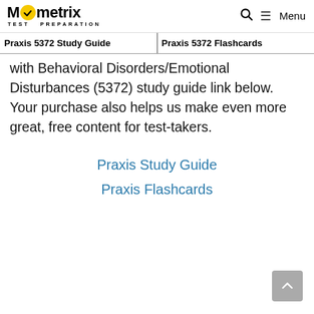Mometrix TEST PREPARATION | Menu
Praxis 5372 Study Guide | Praxis 5372 Flashcards
with Behavioral Disorders/Emotional Disturbances (5372) study guide link below. Your purchase also helps us make even more great, free content for test-takers.
Praxis Study Guide
Praxis Flashcards